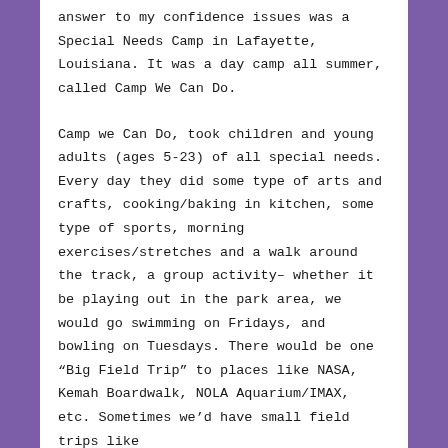answer to my confidence issues was a Special Needs Camp in Lafayette, Louisiana. It was a day camp all summer, called Camp We Can Do.
Camp we Can Do, took children and young adults (ages 5-23) of all special needs. Every day they did some type of arts and crafts, cooking/baking in kitchen, some type of sports, morning exercises/stretches and a walk around the track, a group activity- whether it be playing out in the park area, we would go swimming on Fridays, and bowling on Tuesdays. There would be one “Big Field Trip” to places like NASA, Kemah Boardwalk, NOLA Aquarium/IMAX, etc. Sometimes we’d have small field trips like